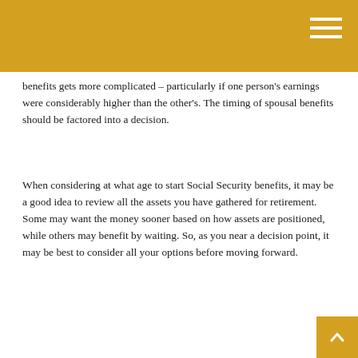benefits gets more complicated – particularly if one person's earnings were considerably higher than the other's. The timing of spousal benefits should be factored into a decision.
When considering at what age to start Social Security benefits, it may be a good idea to review all the assets you have gathered for retirement. Some may want the money sooner based on how assets are positioned, while others may benefit by waiting. So, as you near a decision point, it may be best to consider all your options before moving forward.
The content is developed from sources believed to be providing accurate information. The information in this material is not intended as tax or legal advice. It may not be used for the purpose of avoiding any federal tax penalties. Please consult legal or tax professionals for specific information regarding your individual situation. This material was developed and produced by FMG Suite to provide information on a topic that may be of interest. FMG Suite is not affiliated with the named broker-dealer, state- or